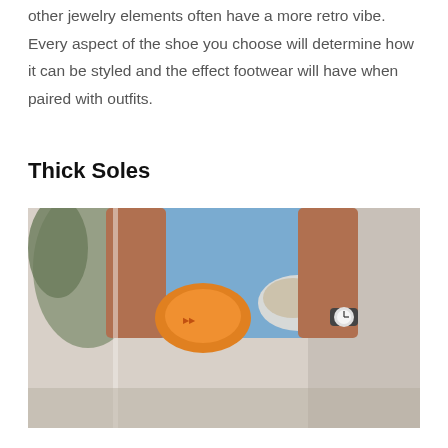other jewelry elements often have a more retro vibe. Every aspect of the shoe you choose will determine how it can be styled and the effect footwear will have when paired with outfits.
Thick Soles
[Figure (photo): A person wearing ripped denim shorts and holding an orange item, with a watch on their wrist, standing against a light background with a plant visible.]